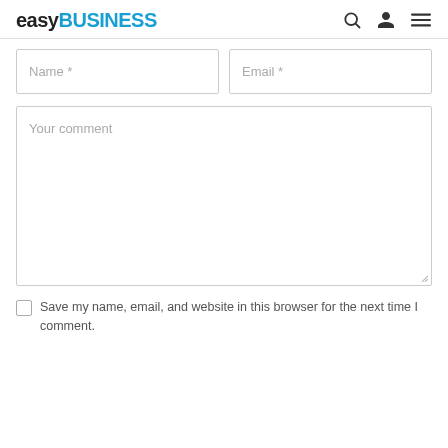easyBUSINESS
Name *
Email *
Your comment
Save my name, email, and website in this browser for the next time I comment.